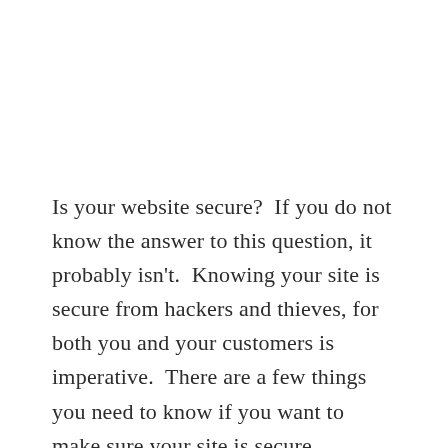Is your website secure?  If you do not know the answer to this question, it probably isn't.  Knowing your site is secure from hackers and thieves, for both you and your customers is imperative.  There are a few things you need to know if you want to make sure your site is secure.